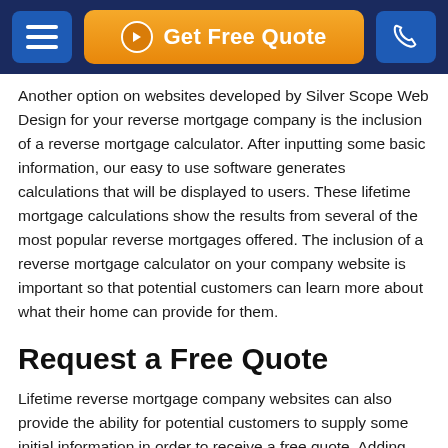Get Free Quote
Another option on websites developed by Silver Scope Web Design for your reverse mortgage company is the inclusion of a reverse mortgage calculator. After inputting some basic information, our easy to use software generates calculations that will be displayed to users. These lifetime mortgage calculations show the results from several of the most popular reverse mortgages offered. The inclusion of a reverse mortgage calculator on your company website is important so that potential customers can learn more about what their home can provide for them.
Request a Free Quote
Lifetime reverse mortgage company websites can also provide the ability for potential customers to supply some initial information in order to receive a free quote. Adding